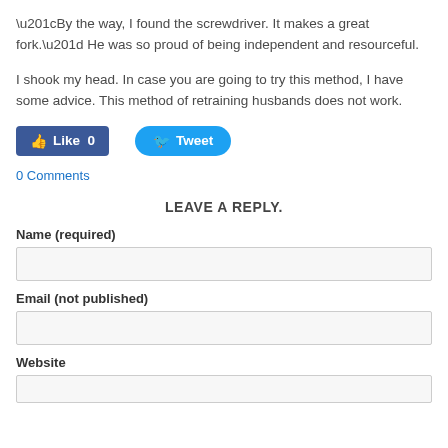“By the way, I found the screwdriver.  It makes a great fork.”  He was so proud of being independent and resourceful.
I shook my head.  In case you are going to try this method, I have some advice.  This method of retraining husbands does not work.
[Figure (other): Facebook Like button (Like 0) and Twitter Tweet button]
0 Comments
LEAVE A REPLY.
Name (required)
Email (not published)
Website